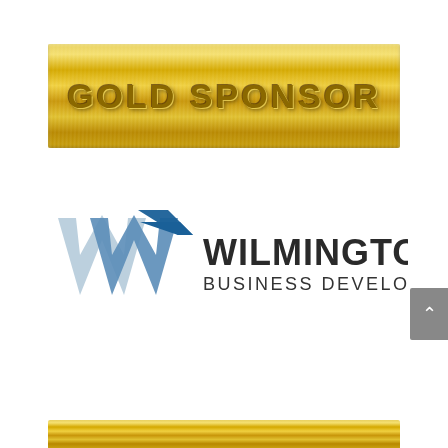[Figure (logo): Gold sponsor banner with embossed metallic 'GOLD SPONSOR' text on brushed gold background]
[Figure (logo): Wilmington Business Development logo with blue and light blue stylized W lettermark and dark text reading WILMINGTON BUSINESS DEVELOPMENT]
[Figure (other): Partial gold banner at bottom of page, same style as top gold sponsor banner]